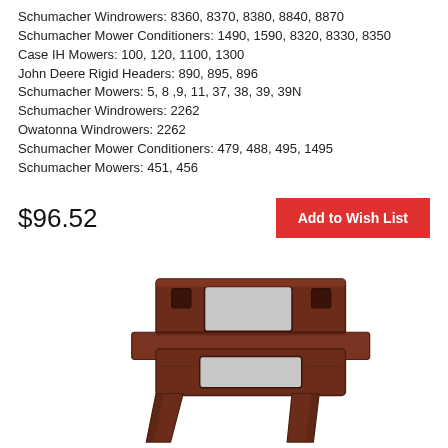Schumacher Windrowers: 8360, 8370, 8380, 8840, 8870
Schumacher Mower Conditioners: 1490, 1590, 8320, 8330, 8350
Case IH Mowers: 100, 120, 1100, 1300
John Deere Rigid Headers: 890, 895, 896
Schumacher Mowers: 5, 8 ,9, 11, 37, 38, 39, 39N
Schumacher Windrowers: 2262
Owatonna Windrowers: 2262
Schumacher Mower Conditioners: 479, 488, 495, 1495
Schumacher Mowers: 451, 456
$96.52
Add to Wish List
[Figure (photo): Brown metal mower conditioner blade/knife component, viewed from front at an angle, showing two tine prongs and mounting bracket with square holes.]